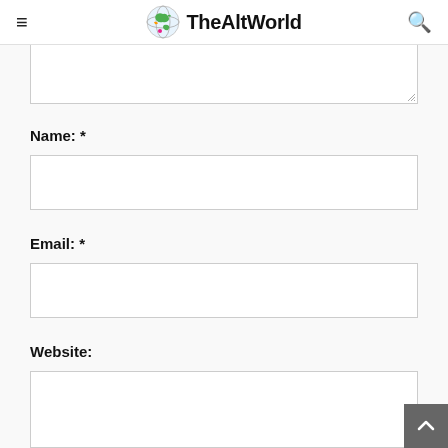TheAltWorld
Name: *
Email: *
Website: